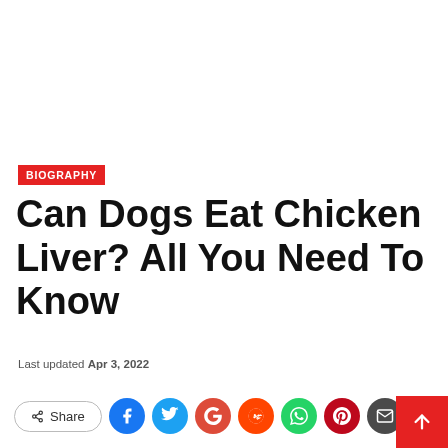BIOGRAPHY
Can Dogs Eat Chicken Liver? All You Need To Know
Last updated Apr 3, 2022
[Figure (other): Social sharing bar with Share button and icons for Facebook, Twitter, Google, Reddit, WhatsApp, Pinterest, Email, and a red scroll-to-top button]